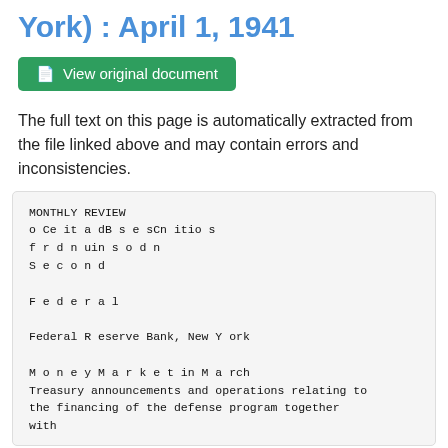York) : April 1, 1941
View original document
The full text on this page is automatically extracted from the file linked above and may contain errors and inconsistencies.
MONTHLY REVIEW
o Ce it a dB s e sCn itio s
f r d n uin s o d n
S e c o n d

F e d e r a l

Federal R eserve Bank, New Y ork

M o n e y M a r k e t in M a rch
Treasury announcements and operations relating to
the financing of the defense program together
with